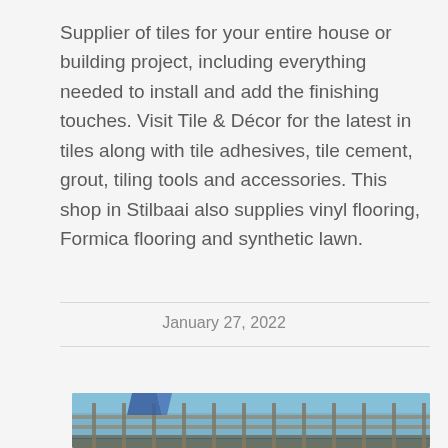Supplier of tiles for your entire house or building project, including everything needed to install and add the finishing touches. Visit Tile & Décor for the latest in tiles along with tile adhesives, tile cement, grout, tiling tools and accessories. This shop in Stilbaai also supplies vinyl flooring, Formica flooring and synthetic lawn.
January 27, 2022
[Figure (photo): A partial photo showing what appears to be a boat or dock structure with metal railings against a blue sky background.]